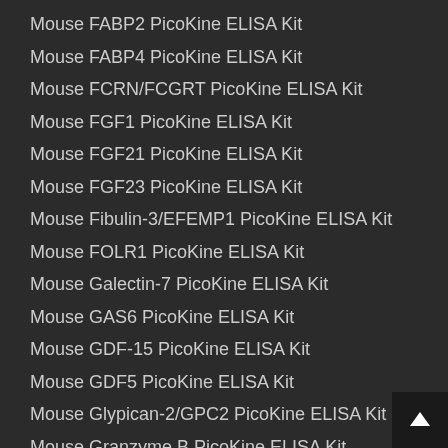Mouse FABP2 PicoKine ELISA Kit
Mouse FABP4 PicoKine ELISA Kit
Mouse FCRN/FCGRT PicoKine ELISA Kit
Mouse FGF1 PicoKine ELISA Kit
Mouse FGF21 PicoKine ELISA Kit
Mouse FGF23 PicoKine ELISA Kit
Mouse Fibulin-3/EFEMP1 PicoKine ELISA Kit
Mouse FOLR1 PicoKine ELISA Kit
Mouse Galectin-7 PicoKine ELISA Kit
Mouse GAS6 PicoKine ELISA Kit
Mouse GDF-15 PicoKine ELISA Kit
Mouse GDF5 PicoKine ELISA Kit
Mouse Glypican-2/GPC2 PicoKine ELISA Kit
Mouse Granzyme B PicoKine ELISA Kit
Mouse GREM2 PicoKine ELISA Kit
Mouse Haptoglobin PicoKine ELISA Kit
Mouse Hemojuvelin PicoKine ELISA Kit
Mouse HGF PicoKine ELISA Kit